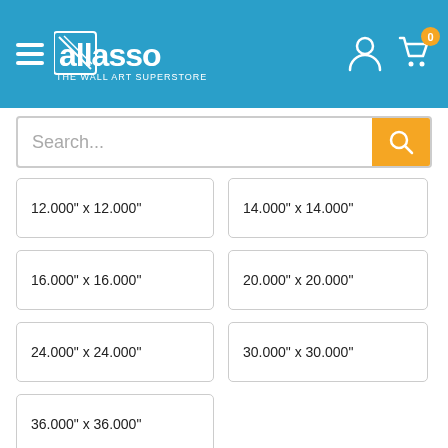[Figure (screenshot): Wallasso e-commerce website header with navigation hamburger menu, logo, search bar, size selection grid, frame color options (Black selected, White), and Mat label showing White.]